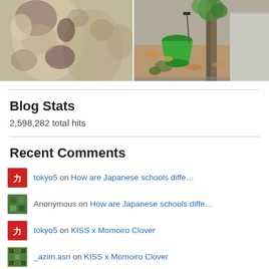[Figure (photo): Two side-by-side photos: left shows a tree trunk with mottled bark in beige and purple/brown tones; right shows a green bucket tipped over near a tree with autumn leaves and concrete blocks.]
Blog Stats
2,598,282 total hits
Recent Comments
tokyo5 on How are Japanese schools diffe…
Anonymous on How are Japanese schools diffe…
tokyo5 on KISS x Momoiro Clover
_azim.asri on KISS x Momoiro Clover
tokyo5 on America's GM CEO insults…
James Bartlett on America's GM CEO insults…